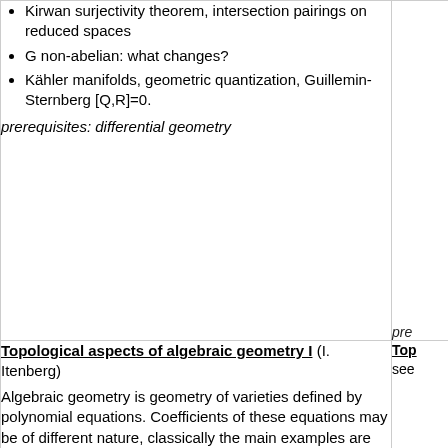Kirwan surjectivity theorem, intersection pairings on reduced spaces
G non-abelian: what changes?
Kähler manifolds, geometric quantization, Guillemin-Sternberg [Q,R]=0.
prerequisites: differential geometry
pre
Topological aspects of algebraic geometry I (I. Itenberg)
Top
see
Algebraic geometry is geometry of varieties defined by polynomial equations. Coefficients of these equations may be of different nature, classically the main examples are integer, real and complex coefficients. The fields of real and complex numbers come with a natural Euclidean topology. This makes real and complex algebraic varieties especially nice and accessible to techniques going beyond standard commutative algebra considerations.